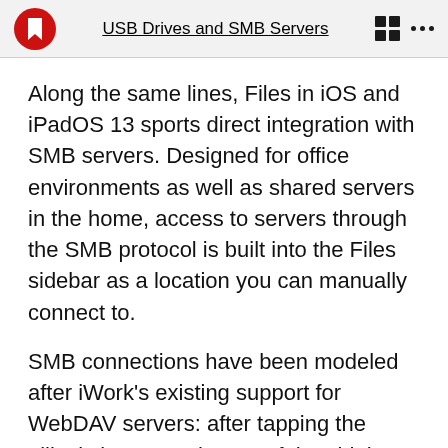USB Drives and SMB Servers
Along the same lines, Files in iOS and iPadOS 13 sports direct integration with SMB servers. Designed for office environments as well as shared servers in the home, access to servers through the SMB protocol is built into the Files sidebar as a location you can manually connect to.
SMB connections have been modeled after iWork's existing support for WebDAV servers: after tapping the ellipsis button at the top of the sidebar, you'll see a 'Connect to Server' option that loads a menu where you can enter the server's address followed by your credentials. Once connected, the